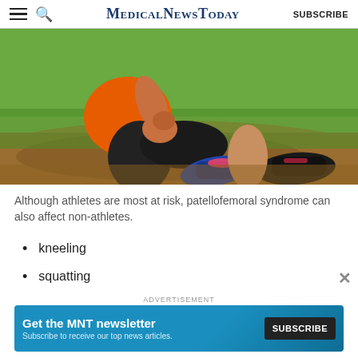MedicalNewsToday  SUBSCRIBE
[Figure (photo): A person sitting on the ground outdoors holding their knee, wearing an orange top, black leggings, and colorful athletic shoes. Green trees visible in background.]
Although athletes are most at risk, patellofemoral syndrome can also affect non-athletes.
kneeling
squatting
(partially visible/obscured item)
[Figure (other): Advertisement banner: Get the MNT newsletter - Subscribe to receive our top news articles. SUBSCRIBE button.]